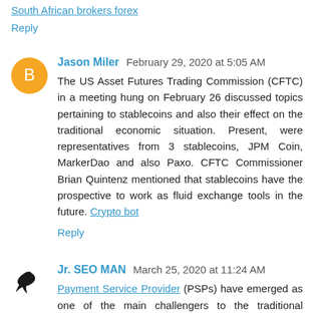South African brokers forex
Reply
Jason Miler  February 29, 2020 at 5:05 AM
The US Asset Futures Trading Commission (CFTC) in a meeting hung on February 26 discussed topics pertaining to stablecoins and also their effect on the traditional economic situation. Present, were representatives from 3 stablecoins, JPM Coin, MarkerDao and also Paxo. CFTC Commissioner Brian Quintenz mentioned that stablecoins have the prospective to work as fluid exchange tools in the future. Crypto bot
Reply
Jr. SEO MAN  March 25, 2020 at 11:24 AM
Payment Service Provider (PSPs) have emerged as one of the main challengers to the traditional banking monopoly. Thanks to recent regulatory shifts, a variety of different types of PSPs have materialized in response to market